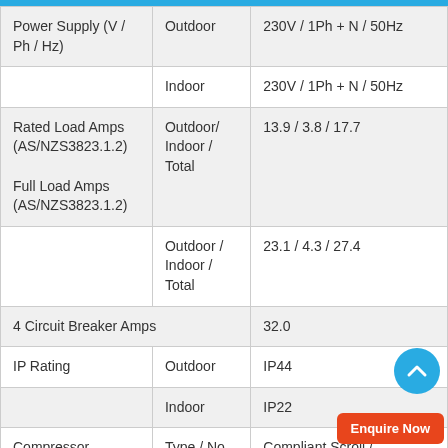|  |  |  |
| --- | --- | --- |
| Power Supply (V / Ph / Hz) | Outdoor | 230V / 1Ph + N / 50Hz |
|  | Indoor | 230V / 1Ph + N / 50Hz |
| Rated Load Amps (AS/NZS3823.1.2)

Full Load Amps (AS/NZS3823.1.2) | Outdoor/ Indoor / Total | 13.9 / 3.8 / 17.7 |
|  | Outdoor / Indoor / Total | 23.1 / 4.3 / 27.4 |
| 4 Circuit Breaker Amps |  | 32.0 |
| IP Rating | Outdoor | IP44 |
|  | Indoor | IP22 |
| Compressor | Type / No. | Compliant Scroll / |